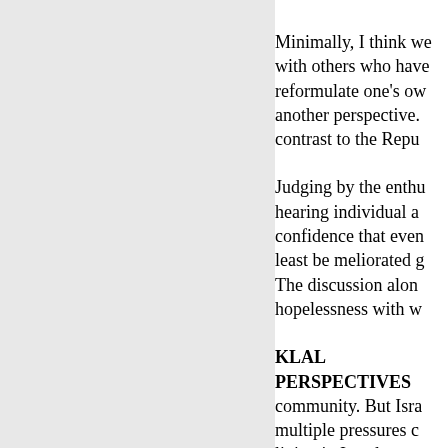Minimally, I think we with others who have reformulate one's ow another perspective. contrast to the Repu
Judging by the enthu hearing individual a confidence that even least be meliorated g The discussion alon hopelessness with w
KLAL PERSPECTIVES community. But Isra multiple pressures c living in Israel, men